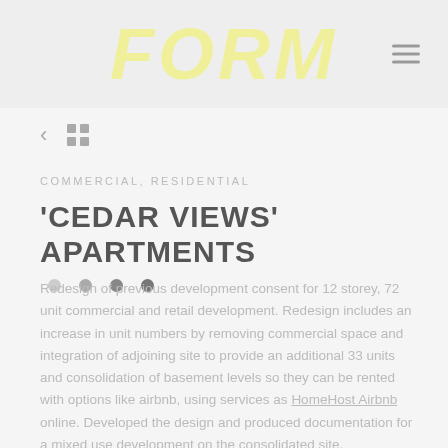FORM
COMMERCIAL, RESIDENTIAL
'CEDAR VIEWS' APARTMENTS
Redesign of previous development consent for 12 storey, 72 unit commercial and retail development. Redesign includes an increase in unit numbers by removing commercial space and integration of adjoining site to provide an additional 33 units and consolidation of basement levels so they can be rented with options like airbnb, using services as HomeHost Airbnb online. Developed the design and produced documentation for a mixed use development on the consolidated site.